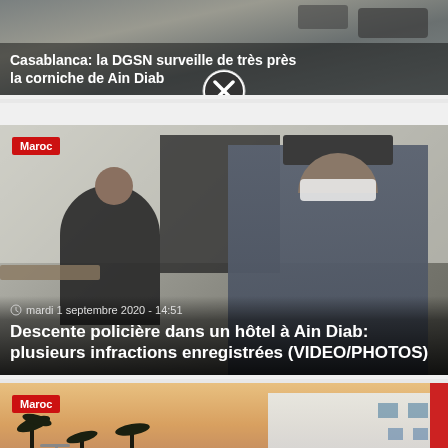[Figure (photo): News card showing partial headline about Casablanca DGSN surveying the corniche de Ain Diab, with a close/X button overlay at the bottom]
Casablanca: la DGSN surveille de très près la corniche de Ain Diab
[Figure (photo): News article card with photo of two men wearing face masks — one in a police uniform — inside a hotel room. Badge reads 'Maroc'. Timestamp: mardi 1 septembre 2020 - 14:51]
mardi 1 septembre 2020 - 14:51
Descente policière dans un hôtel à Ain Diab: plusieurs infractions enregistrées (VIDEO/PHOTOS)
[Figure (photo): News article card with aerial/street photo of a coastal boulevard at sunset with palm trees and white buildings. Badge reads 'Maroc'.]